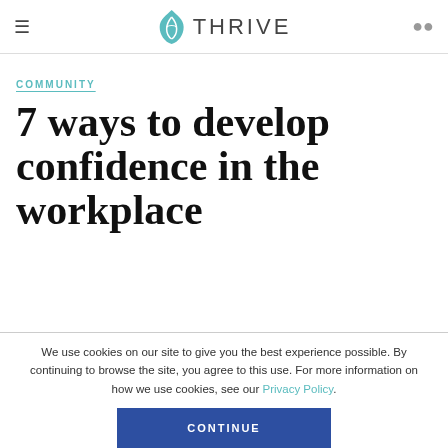THRIVE
COMMUNITY
7 ways to develop confidence in the workplace
We use cookies on our site to give you the best experience possible. By continuing to browse the site, you agree to this use. For more information on how we use cookies, see our Privacy Policy.
CONTINUE